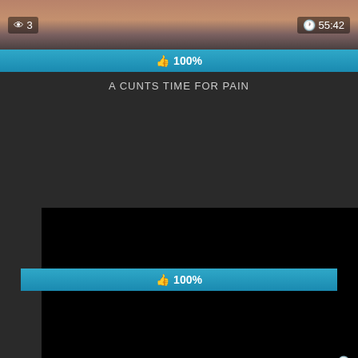[Figure (screenshot): Top video thumbnail showing partial view of a person]
👁 3
🕐 55:42
👍 100%
A CUNTS TIME FOR PAIN
[Figure (screenshot): Main video player showing black screen]
👁 19
🕐
👍 100%
[Figure (screenshot): Social share buttons: Facebook, Twitter, Email, Pinterest, Tumblr, Reddit, Blogger, WordPress, VK, Plus]